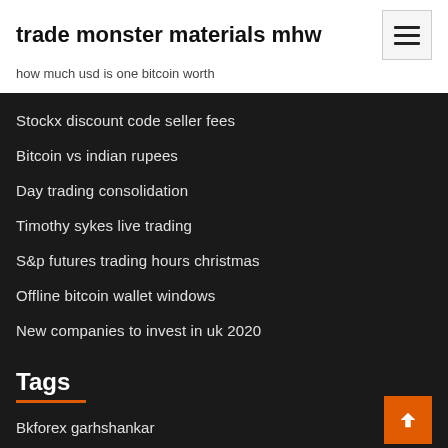trade monster materials mhw
how much usd is one bitcoin worth
Stockx discount code seller fees
Bitcoin vs indian rupees
Day trading consolidation
Timothy sykes live trading
S&p futures trading hours christmas
Offline bitcoin wallet windows
New companies to invest in uk 2020
Tags
Bkforex garhshankar